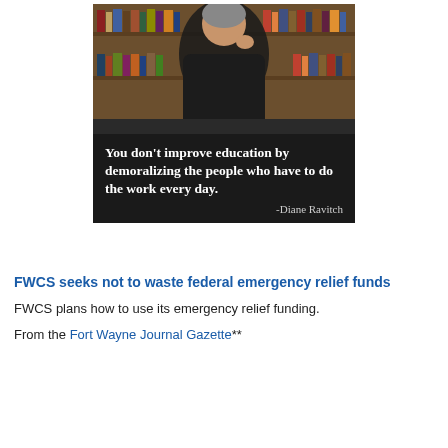[Figure (photo): Person sitting in front of bookshelves with a quote overlay: 'You don't improve education by demoralizing the people who have to do the work every day. -Diane Ravitch']
FWCS seeks not to waste federal emergency relief funds
FWCS plans how to use its emergency relief funding.
From the Fort Wayne Journal Gazette**